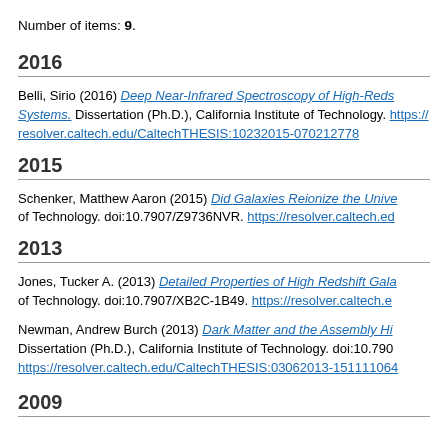Number of items: 9.
2016
Belli, Sirio (2016) Deep Near-Infrared Spectroscopy of High-Redshift Systems. Dissertation (Ph.D.), California Institute of Technology. https://resolver.caltech.edu/CaltechTHESIS:10232015-070212778
2015
Schenker, Matthew Aaron (2015) Did Galaxies Reionize the Universe? Dissertation (Ph.D.), California Institute of Technology. doi:10.7907/Z9736NVR. https://resolver.caltech.edu/...
2013
Jones, Tucker A. (2013) Detailed Properties of High Redshift Galaxies. Dissertation (Ph.D.), California Institute of Technology. doi:10.7907/XB2C-1B49. https://resolver.caltech.edu/...
Newman, Andrew Burch (2013) Dark Matter and the Assembly History of Elliptical Galaxies. Dissertation (Ph.D.), California Institute of Technology. doi:10.790... https://resolver.caltech.edu/CaltechTHESIS:03062013-151111064
2009